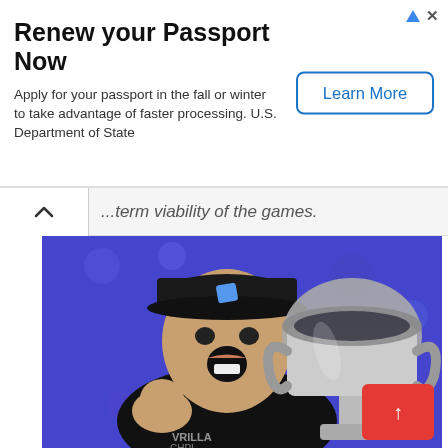[Figure (screenshot): Advertisement banner: 'Renew your Passport Now' with subtitle 'Apply for your passport in the fall or winter to take advantage of faster processing. U.S. Department of State' and a 'Learn More' button. Has AdChoices triangle icon and X close button in top right.]
...term viability of the games.
[Figure (photo): A young male teenager wearing a black cap with a logo, holding a large silver trophy cup, mouth open in celebration/excitement, against a blue lit background. He appears to be a gaming competition winner.]